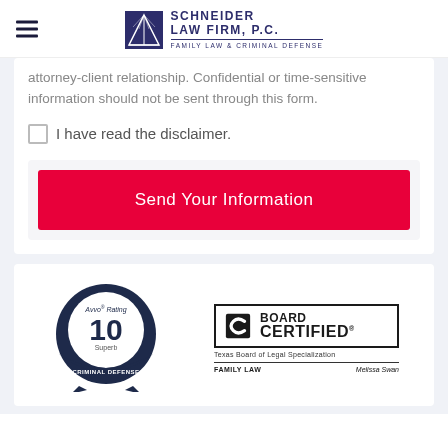Schneider Law Firm, P.C. — Family Law & Criminal Defense
attorney-client relationship. Confidential or time-sensitive information should not be sent through this form.
I have read the disclaimer.
Send Your Information
[Figure (logo): Avvo Rating 10 Superb Criminal Defense badge]
[Figure (logo): Board Certified Texas Board of Legal Specialization — Family Law — Melissa Swan]